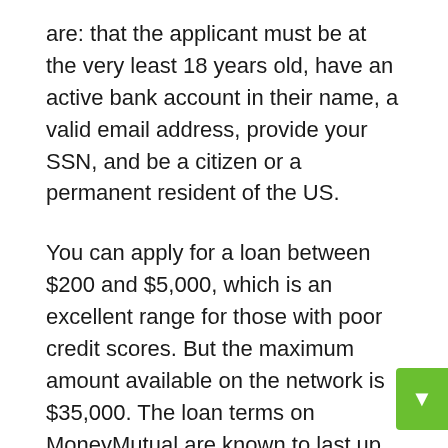are: that the applicant must be at the very least 18 years old, have an active bank account in their name, a valid email address, provide your SSN, and be a citizen or a permanent resident of the US.
You can apply for a loan between $200 and $5,000, which is an excellent range for those with poor credit scores. But the maximum amount available on the network is $35,000. The loan terms on MoneyMutual are known to last up to 60 months, depending on your contract with the lender.
With MoneyMutual, you will not need to worry about your information falling into the hands of